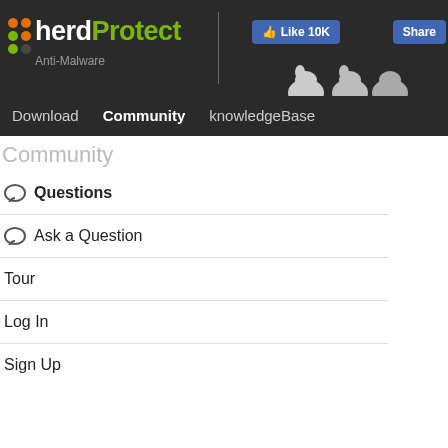herdProtect Anti-Malware | Like 10K | Share
Download  Community  knowledgeBase
Community
Questions
Ask a Question
Tour
Log In
Sign Up
0 Votes  2 Answers
I Keep Getting The
Hi there,On both my lapt time I go to watch somet overtaken by a "shelimi
virus
0 Votes  2 Answers
Why Do I Keep Get
Hi there,On both my lapt today. Every time I go to "sheliminder.com". It cut
virus